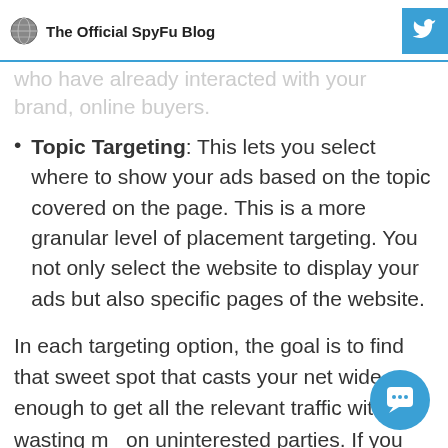The Official SpyFu Blog
who have already interacted with your brand, online buyers.
Topic Targeting: This lets you select where to show your ads based on the topic covered on the page. This is a more granular level of placement targeting. You not only select the website to display your ads but also specific pages of the website.
In each targeting option, the goal is to find that sweet spot that casts your net wide enough to get all the relevant traffic without wasting m... on uninterested parties. If you have a low c... consider adding more strict targeting rules. If